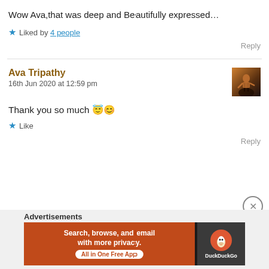Wow Ava,that was deep and Beautifully expressed…
★ Liked by 4 people
Reply
Ava Tripathy
16th Jun 2020 at 12:59 pm
Thank you so much 😇😊
★ Like
Reply
Advertisements
Search, browse, and email with more privacy. All in One Free App
DuckDuckGo